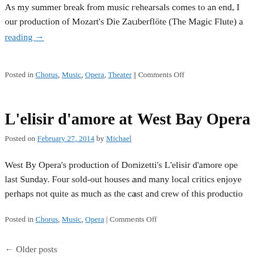As my summer break from music rehearsals comes to an end, I our production of Mozart’s Die Zauberflöte (The Magic Flute) a reading →
Posted in Chorus, Music, Opera, Theater | Comments Off
L’elisir d’amore at West Bay Opera
Posted on February 27, 2014 by Michael
West By Opera’s production of Donizetti’s L’elisir d’amore ope last Sunday. Four sold-out houses and many local critics enjoye perhaps not quite as much as the cast and crew of this productio
Posted in Chorus, Music, Opera | Comments Off
← Older posts